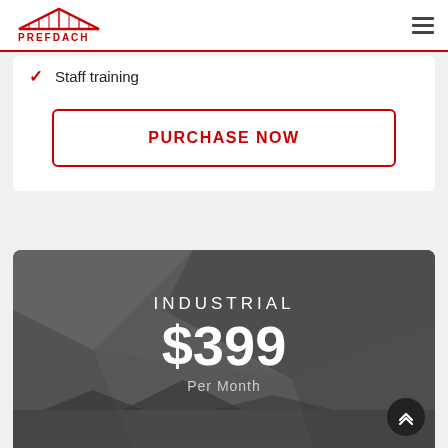PREFDACH
Staff training
PURCHASE NOW
INDUSTRIAL
$399
Per Month